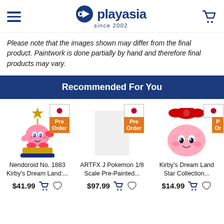playasia since 2002
Please note that the images shown may differ from the final product. Paintwork is done partially by hand and therefore final products may vary.
Recommended For You
[Figure (photo): Nendoroid No. 1883 Kirby's Dream Land figure with Pre Order badge and Japan flag badge]
Nendoroid No. 1883 Kirby's Dream Land:...
$41.99
[Figure (photo): ARTFX J Pokemon 1/8 Scale Pre-Painted figure with Pre Order badge and Japan flag badge]
ARTFX J Pokemon 1/8 Scale Pre-Painted...
$97.99
[Figure (photo): Kirby's Dream Land Star Collection plush with Pre Order badge and Japan flag badge (partially cropped)]
Kirby's Dream Land Star Collection...
$14.99